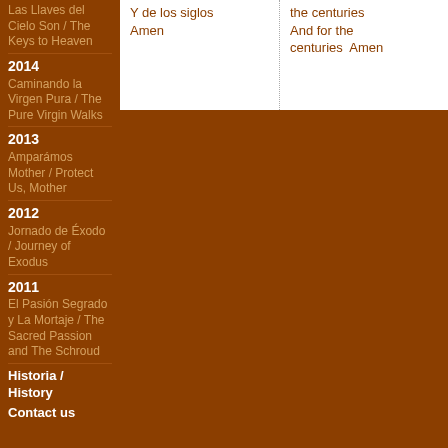Las Llaves del Cielo Son / The Keys to Heaven
Y de los siglos Amen
the centuries And for the centuries Amen
2014
Caminando la Virgen Pura / The Pure Virgin Walks
2013
Amparámos Mother / Protect Us, Mother
2012
Jornado de Éxodo / Journey of Exodus
2011
El Pasión Segrado y La Mortaje / The Sacred Passion and The Schroud
Historia / History
Contact us